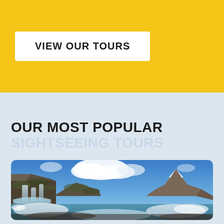VIEW OUR TOURS
OUR MOST POPULAR
SIGHTSEEING TOURS
[Figure (photo): Scenic landscape photograph showing Kirkjufell mountain in Iceland with waterfalls in the foreground, snow on the ground, blue sky with clouds, and a glacial pool reflecting the scenery.]